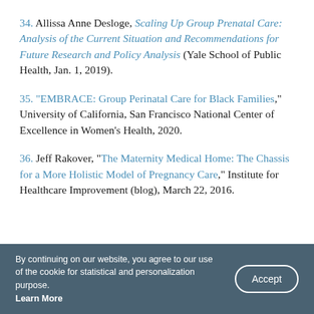34. Allissa Anne Desloge, Scaling Up Group Prenatal Care: Analysis of the Current Situation and Recommendations for Future Research and Policy Analysis (Yale School of Public Health, Jan. 1, 2019).
35. "EMBRACE: Group Perinatal Care for Black Families," University of California, San Francisco National Center of Excellence in Women's Health, 2020.
36. Jeff Rakover, "The Maternity Medical Home: The Chassis for a More Holistic Model of Pregnancy Care," Institute for Healthcare Improvement (blog), March 22, 2016.
By continuing on our website, you agree to our use of the cookie for statistical and personalization purpose. Learn More